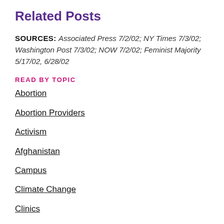Related Posts
SOURCES: Associated Press 7/2/02; NY Times 7/3/02; Washington Post 7/3/02; NOW 7/2/02; Feminist Majority 5/17/02, 6/28/02
READ BY TOPIC
Abortion
Abortion Providers
Activism
Afghanistan
Campus
Climate Change
Clinics